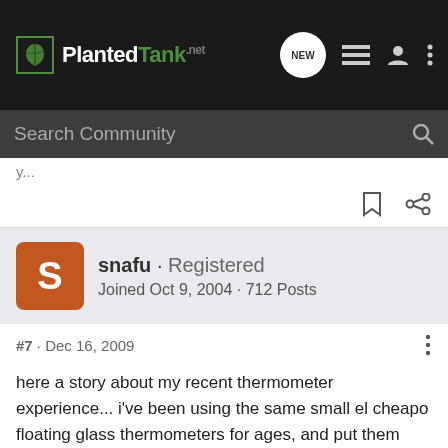PlantedTank.net — navigation bar with logo, NEW button, list icon, user icon, more icon
Search Community
#7 · Dec 16, 2009
snafu · Registered
Joined Oct 9, 2004 · 712 Posts
here a story about my recent thermometer experience... i've been using the same small el cheapo floating glass thermometers for ages, and put them against the back corner where they generally stay. recently, i decided to buy a handful of thermometers for some other tanks. when i was shopping for them i noticed they made two kinds - floating and one with suction cup. They basically look identical, except one comes